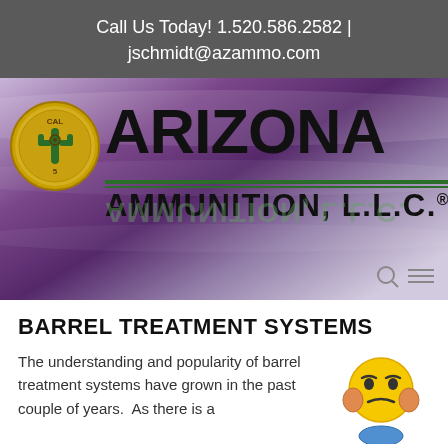Call Us Today! 1.520.586.2582 | jschmidt@azammo.com
[Figure (logo): Arizona Ammunition L.L.C. logo with gold coin/cactus icon, large bold ARIZONA text, AMMUNITION, L.L.C. text with reflection, on purple gradient background]
BARREL TREATMENT SYSTEMS
The understanding and popularity of barrel treatment systems have grown in the past couple of years.  As there is a
[Figure (illustration): Yellow emoji-style stressed/worried face with hands on cheeks]